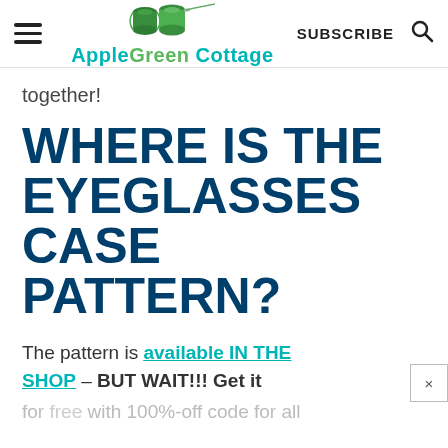AppleGreen Cottage — SUBSCRIBE
together!
WHERE IS THE EYEGLASSES CASE PATTERN?
The pattern is available IN THE SHOP – BUT WAIT!!! Get it for free with 100%-off code for all